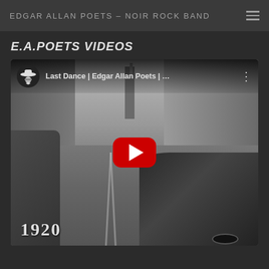EDGAR ALLAN POETS – NOIR ROCK BAND
E.A.POETS VIDEOS
[Figure (screenshot): YouTube video thumbnail for 'Last Dance | Edgar Allan Poets | …' showing a black-and-white 1920s street scene with tram tracks, horse-drawn carts, automobiles, and city buildings. A red YouTube play button is centered. The year '1920' appears in the lower left. The video player header shows the Edgar Allan Poets logo (hat and face silhouette) and the video title.]